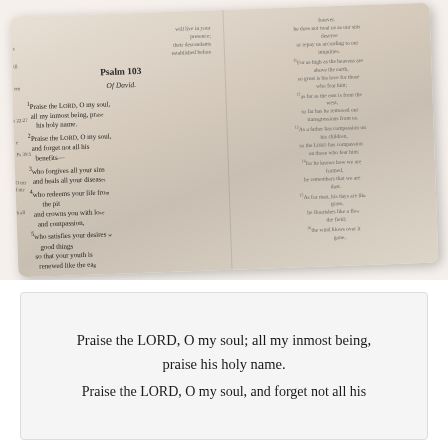[Figure (photo): An open Bible showing Psalm 103, with text visible on both pages including verses about praising the LORD, forgiveness, healing, compassion, and man's days like grass.]
Praise the LORD, O my soul; all my inmost being, praise his holy name. Praise the LORD, O my soul, and forget not all his